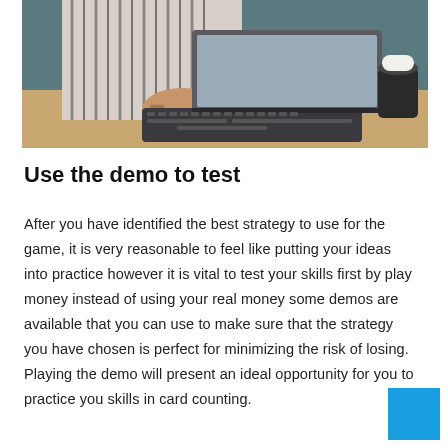[Figure (photo): Person wearing a striped shirt typing on a laptop at a wooden desk, with a takeaway coffee cup visible on the right side.]
Use the demo to test
After you have identified the best strategy to use for the game, it is very reasonable to feel like putting your ideas into practice however it is vital to test your skills first by play money instead of using your real money some demos are available that you can use to make sure that the strategy you have chosen is perfect for minimizing the risk of losing. Playing the demo will present an ideal opportunity for you to practice your skills in card counting.